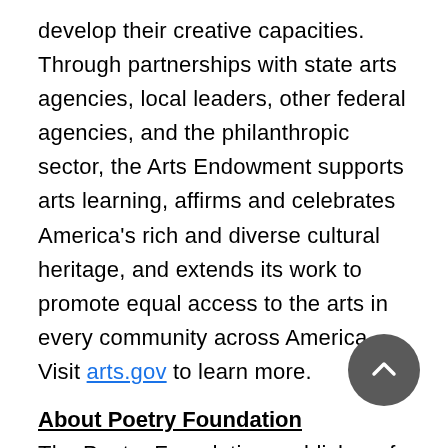develop their creative capacities. Through partnerships with state arts agencies, local leaders, other federal agencies, and the philanthropic sector, the Arts Endowment supports arts learning, affirms and celebrates America's rich and diverse cultural heritage, and extends its work to promote equal access to the arts in every community across America. Visit arts.gov to learn more.
About Poetry Foundation
The Poetry Foundation, publisher of Poetry magazine, is an independent literary organization committed to a vigorous presence